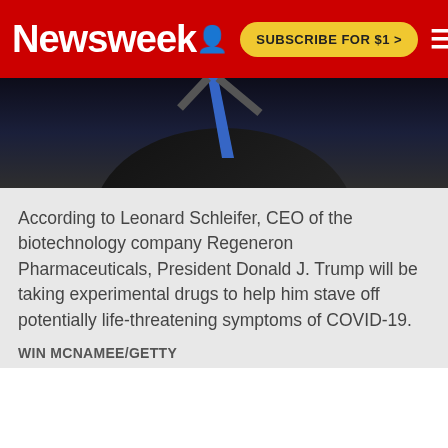Newsweek | SUBSCRIBE FOR $1 >
[Figure (photo): Dark background photo showing a person in a dark suit with blue tie, partially visible from neck down — used as article header image for Newsweek article about Trump taking Regeneron experimental drugs for COVID-19]
According to Leonard Schleifer, CEO of the biotechnology company Regeneron Pharmaceuticals, President Donald J. Trump will be taking experimental drugs to help him stave off potentially life-threatening symptoms of COVID-19.
WIN MCNAMEE/GETTY